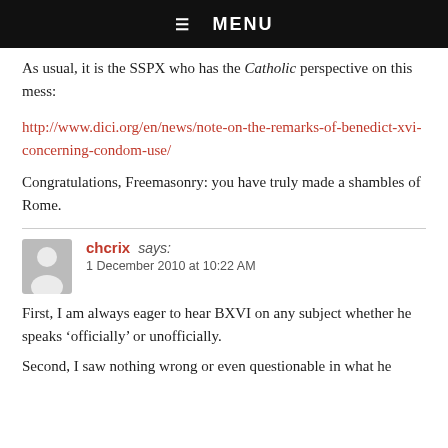☰  MENU
As usual, it is the SSPX who has the Catholic perspective on this mess:
http://www.dici.org/en/news/note-on-the-remarks-of-benedict-xvi-concerning-condom-use/
Congratulations, Freemasonry: you have truly made a shambles of Rome.
chcrix says:
1 December 2010 at 10:22 AM
First, I am always eager to hear BXVI on any subject whether he speaks 'officially' or unofficially.
Second, I saw nothing wrong or even questionable in what he